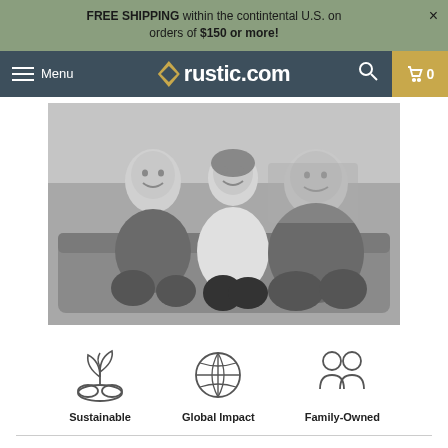FREE SHIPPING within the contintental U.S. on orders of $150 or more!
[Figure (screenshot): Website navigation bar for rustic.com with hamburger menu, logo, search icon, and cart showing 0 items]
[Figure (photo): Black and white photograph of three people (two men and one woman) sitting on a couch or sofa, smiling at the camera in what appears to be a restaurant or social setting]
[Figure (infographic): Three icons representing brand values: Sustainable (plant/sprout icon), Global Impact (globe icon), Family-Owned (people/family icon) with labels beneath each]